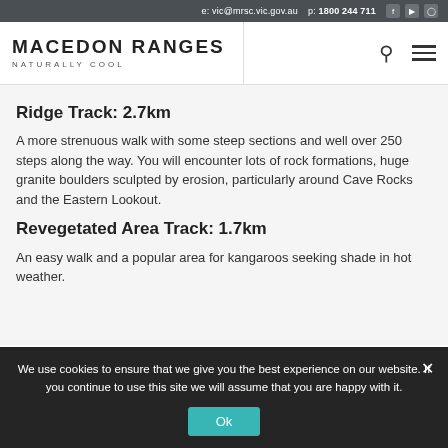e: vic@mrsc.vic.gov.au  p: 1800 244 711
[Figure (logo): Macedon Ranges Naturally Cool logo with search and menu icons]
Ridge Track: 2.7km
A more strenuous walk with some steep sections and well over 250 steps along the way. You will encounter lots of rock formations, huge granite boulders sculpted by erosion, particularly around Cave Rocks and the Eastern Lookout.
Revegetated Area Track: 1.7km
An easy walk and a popular area for kangaroos seeking shade in hot weather.
We use cookies to ensure that we give you the best experience on our website. If you continue to use this site we will assume that you are happy with it.